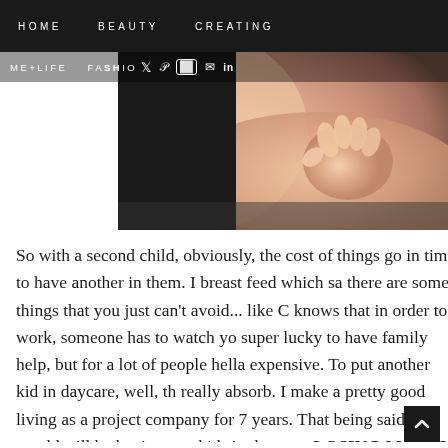HOME   BEAUTY   CREATING
ME+LIFE   FASHION   (social icons: twitter, pinterest, instagram, email, linkedin)
[Figure (photo): Close-up photo of a baby's skin and small hand/fist, warm peachy-pink tones against a dark background]
So with a second child, obviously, the cost of things go in time to have another in them. I breast feed which sa there are some things that you just can't avoid... like C knows that in order to work, someone has to watch yo super lucky to have family help, but for a lot of people hella expensive. To put another kid in daycare, well, th really absorb. I make a pretty good living as a project company for 7 years. That being said, we would still be having two kids in daycare. LOSING MONEY. So we ma